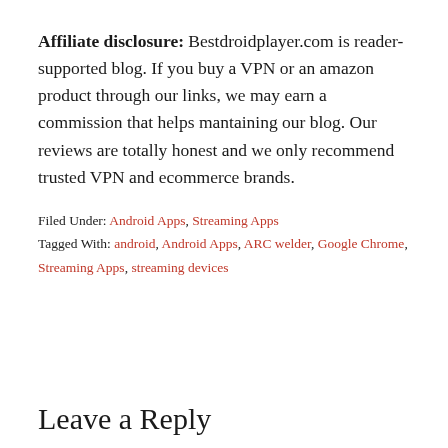Affiliate disclosure: Bestdroidplayer.com is reader-supported blog. If you buy a VPN or an amazon product through our links, we may earn a commission that helps mantaining our blog. Our reviews are totally honest and we only recommend trusted VPN and ecommerce brands.
Filed Under: Android Apps, Streaming Apps
Tagged With: android, Android Apps, ARC welder, Google Chrome, Streaming Apps, streaming devices
Leave a Reply
Your email address will not be published. Required